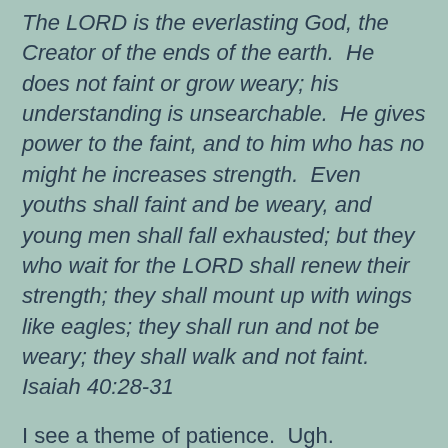The LORD is the everlasting God, the Creator of the ends of the earth.  He does not faint or grow weary; his understanding is unsearchable.  He gives power to the faint, and to him who has no might he increases strength.  Even youths shall faint and be weary, and young men shall fall exhausted; but they who wait for the LORD shall renew their strength; they shall mount up with wings like eagles; they shall run and not be weary; they shall walk and not faint.  Isaiah 40:28-31
I see a theme of patience.  Ugh.